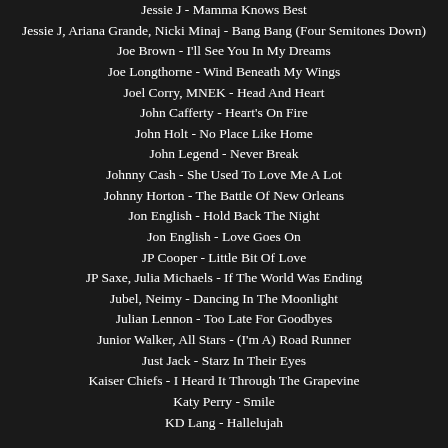Jessie J - Mamma Knows Best
Jessie J, Ariana Grande, Nicki Minaj - Bang Bang (Four Semitones Down)
Joe Brown - I'll See You In My Dreams
Joe Longthorne - Wind Beneath My Wings
Joel Corry, MNEK - Head And Heart
John Cafferty - Heart's On Fire
John Holt - No Place Like Home
John Legend - Never Break
Johnny Cash - She Used To Love Me A Lot
Johnny Horton - The Battle Of New Orleans
Jon English - Hold Back The Night
Jon English - Love Goes On
JP Cooper - Little Bit Of Love
JP Saxe, Julia Michaels - If The World Was Ending
Jubel, Neimy - Dancing In The Moonlight
Julian Lennon - Too Late For Goodbyes
Junior Walker, All Stars - (I'm A) Road Runner
Just Jack - Starz In Their Eyes
Kaiser Chiefs - I Heard It Through The Grapevine
Katy Perry - Smile
KD Lang - Hallelujah